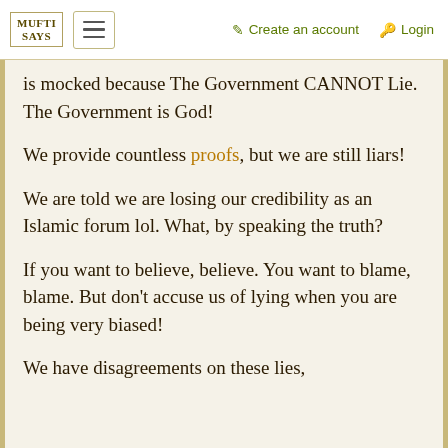MUFTI SAYS | Create an account | Login
is mocked because The Government CANNOT Lie. The Government is God!
We provide countless proofs, but we are still liars!
We are told we are losing our credibility as an Islamic forum lol. What, by speaking the truth?
If you want to believe, believe. You want to blame, blame. But don't accuse us of lying when you are being very biased!
We have disagreements on these lies,